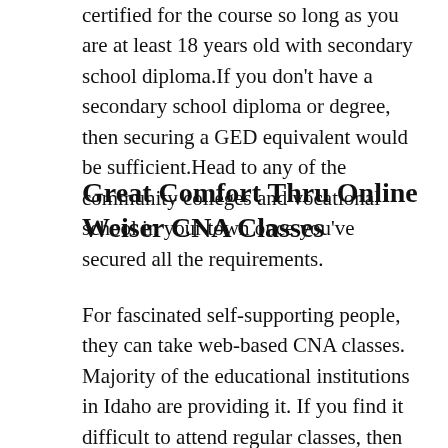certified for the course so long as you are at least 18 years old with secondary school diploma.If you don't have a secondary school diploma or degree, then securing a GED equivalent would be sufficient.Head to any of the community colleges and vocational school in your town once you've secured all the requirements.
Great Comfort Thru Online Weiser CNA Classes
For fascinated self-supporting people, they can take web-based CNA classes. Majority of the educational institutions in Idaho are providing it. If you find it difficult to attend regular classes, then you can go for it instead . This is really because web-based courses tend to be more flexible in terms of daily schedules. Besides the classes, the written exams are